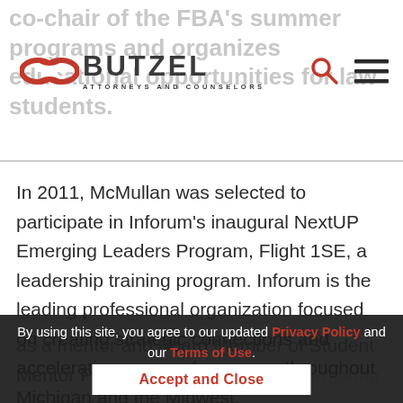co-chair of the FBA's summer programs and organizes educational opportunities for law students.
[Figure (logo): Butzel Long attorneys and counselors logo with red chain-link icon and BUTZEL text]
In 2011, McMullan was selected to participate in Inforum's inaugural NextUP Emerging Leaders Program, Flight 1SE, a leadership training program. Inforum is the leading professional organization focused on creating strategic connections and accelerating careers for women throughout Michigan and the Midwest.
By using this site, you agree to our updated Privacy Policy and our Terms of Use.
Accept and Close